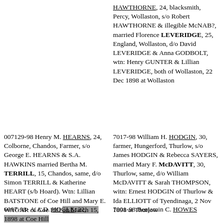HAWTHORNE, 24, blacksmith, Percy, Wollaston, s/o Robert HAWTHORNE & illegible McNAB?, married Florence LEVERIDGE, 25, England, Wollaston, d/o David LEVERIDGE & Anna GODBOLT, wtn: Henry GUNTER & Lillian LEVERIDGE, both of Wollaston, 22 Dec 1898 at Wollaston
007129-98 Henry M. HEARNS, 24, Colborne, Chandos, Farmer, s/o George E. HEARNS & S.A. HAWKINS married Bertha M. TERRILL, 15, Chandos, same, d/o Simon TERRILL & Katherine HEART (s/b Hoard). Wtn: Lillian BATSTONE of Coe Hill and Mary E. WAGAR of Coe Hill on March 15, 1898 at Coe Hill
7017-98 William H. HODGIN, 30, farmer, Hungerford, Thurlow, s/o James HODGIN & Rebecca SAYERS, married Mary F. McDAVITT, 30, Thurlow, same, d/o William McDAVITT & Sarah THOMPSON, witn: Ernest HODGIN of Thurlow & Ida ELLIOTT of Tyendinaga, 2 Nov 1898 at Thurlow
6997-98- A.A.D. HOGLE, 22,
7001-98 Benjamin C. HOWES